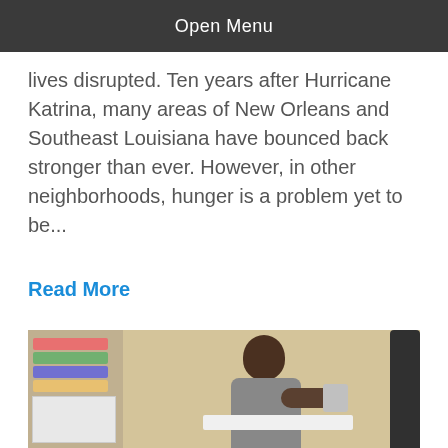Open Menu
lives disrupted. Ten years after Hurricane Katrina, many areas of New Orleans and Southeast Louisiana have bounced back stronger than ever. However, in other neighborhoods, hunger is a problem yet to be...
Read More
[Figure (photo): A young boy sitting at a desk writing with a pen, with a device strapped to his arm, in what appears to be a medical or educational setting with shelves of colorful items on the left.]